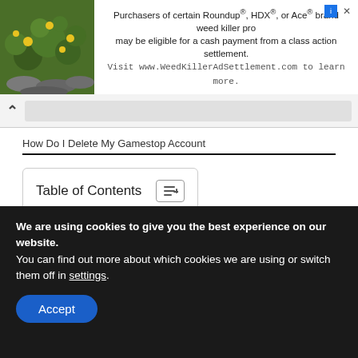[Figure (infographic): Ad banner with plant photo on left and text about Roundup/HDX/Ace weed killer class action settlement on right, with close/ad-info icons.]
Purchasers of certain Roundup®, HDX®, or Ace® brand weed killer products may be eligible for a cash payment from a class action settlement. Visit www.WeedKillerAdSettlement.com to learn more.
How Do I Delete My Gamestop Account
How do I unsubscribe from GameStop emails?
We are using cookies to give you the best experience on our website.
You can find out more about which cookies we are using or switch them off in settings.
Accept